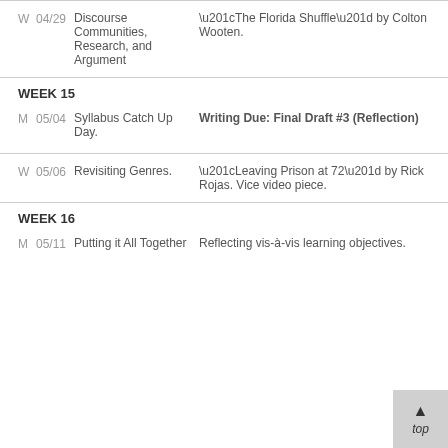| Day | Date | Topic | Reading/Assignment |
| --- | --- | --- | --- |
| W | 04/29 | Discourse Communities, Research, and Argument | “The Florida Shuffle” by Colton Wooten. |
|  | WEEK 15 |  |  |
| M | 05/04 | Syllabus Catch Up Day. | Writing Due: Final Draft #3 (Reflection) |
| W | 05/06 | Revisiting Genres. | “Leaving Prison at 72” by Rick Rojas. Vice video piece. |
|  | WEEK 16 |  |  |
| M | 05/11 | Putting it All Together | Reflecting vis-à-vis learning objectives. |